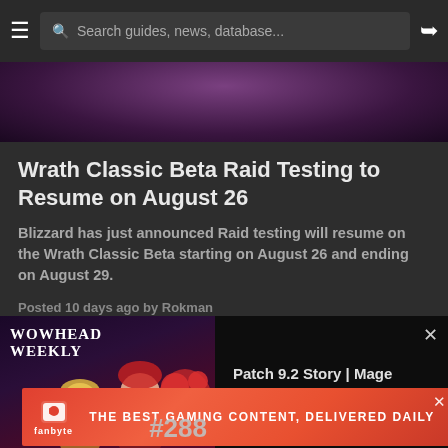Search guides, news, database...
[Figure (screenshot): Partial hero image from a World of Warcraft article, showing purple/dark fantasy game artwork]
Wrath Classic Beta Raid Testing to Resume on August 26
Blizzard has just announced Raid testing will resume on the Wrath Classic Beta starting on August 26 and ending on August 29.
Posted 10 days ago by Rokman
[Figure (screenshot): Wowhead Weekly podcast banner #288 showing cartoon anime-style characters with text 'Patch 9.2 Story | Mage Tower | Wowhead #288']
[Figure (screenshot): Fanbyte advertisement banner: 'The Best Gaming Content, Delivered Daily']